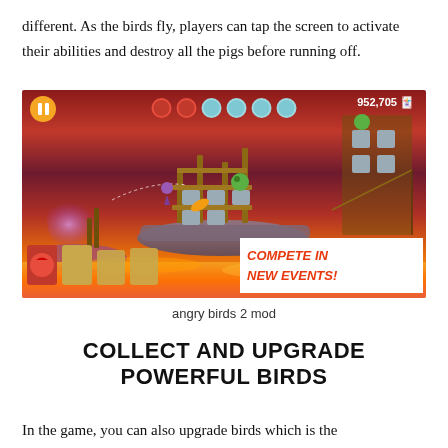different. As the birds fly, players can tap the screen to activate their abilities and destroy all the pigs before running off.
[Figure (screenshot): Angry Birds 2 gameplay screenshot showing birds flying over lava landscape with pig fortresses. Score reads 952,705. A white banner in the bottom-right reads 'COMPETE IN NEW EVENTS!' in bold italic red text.]
angry birds 2 mod
COLLECT AND UPGRADE POWERFUL BIRDS
In the game, you can also upgrade birds which is the